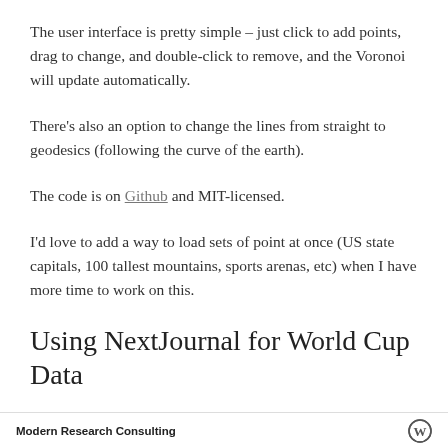The user interface is pretty simple – just click to add points, drag to change, and double-click to remove, and the Voronoi will update automatically.
There's also an option to change the lines from straight to geodesics (following the curve of the earth).
The code is on Github and MIT-licensed.
I'd love to add a way to load sets of point at once (US state capitals, 100 tallest mountains, sports arenas, etc) when I have more time to work on this.
Using NextJournal for World Cup Data
Modern Research Consulting